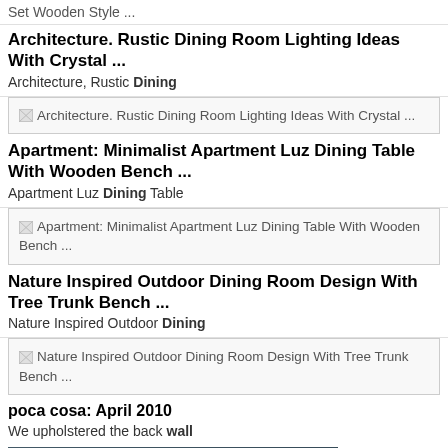Set Wooden Style ...
Architecture. Rustic Dining Room Lighting Ideas With Crystal ...
Architecture, Rustic Dining
[Figure (screenshot): Broken image placeholder for Architecture. Rustic Dining Room Lighting Ideas With Crystal ...]
Apartment: Minimalist Apartment Luz Dining Table With Wooden Bench ...
Apartment Luz Dining Table
[Figure (screenshot): Broken image placeholder for Apartment: Minimalist Apartment Luz Dining Table With Wooden Bench ...]
Nature Inspired Outdoor Dining Room Design With Tree Trunk Bench ...
Nature Inspired Outdoor Dining
[Figure (screenshot): Broken image placeholder for Nature Inspired Outdoor Dining Room Design With Tree Trunk Bench ...]
poca cosa: April 2010
We upholstered the back wall
[Figure (photo): Photo of a room interior with recessed ceiling lights against a dark teal/blue wall]